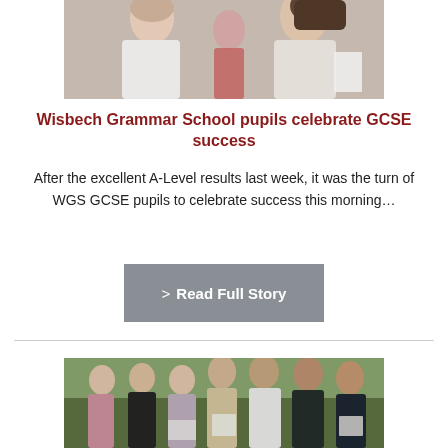[Figure (photo): Two female students holding papers, blurred background, examining results]
Wisbech Grammar School pupils celebrate GCSE success
After the excellent A-Level results last week, it was the turn of WGS GCSE pupils to celebrate success this morning…
> Read Full Story
[Figure (photo): Group of students standing outdoors holding papers, celebrating results day]